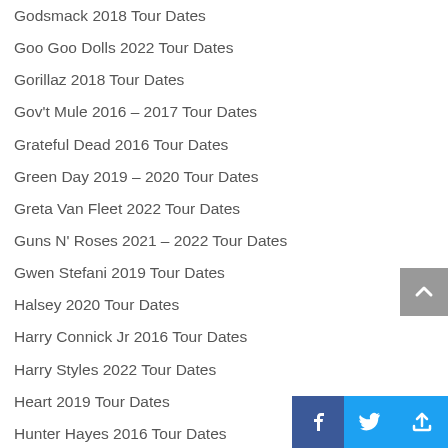Godsmack 2018 Tour Dates
Goo Goo Dolls 2022 Tour Dates
Gorillaz 2018 Tour Dates
Gov't Mule 2016 – 2017 Tour Dates
Grateful Dead 2016 Tour Dates
Green Day 2019 – 2020 Tour Dates
Greta Van Fleet 2022 Tour Dates
Guns N' Roses 2021 – 2022 Tour Dates
Gwen Stefani 2019 Tour Dates
Halsey 2020 Tour Dates
Harry Connick Jr 2016 Tour Dates
Harry Styles 2022 Tour Dates
Heart 2019 Tour Dates
Hunter Hayes 2016 Tour Dates
Iggy Azalea 2016 Tour Dates